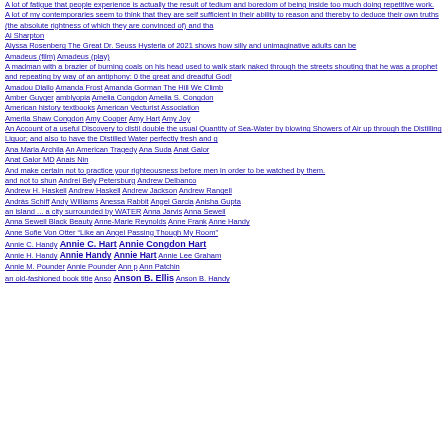A lot of fatigue that people experience is actually the result of tedium and boredom of being inside too much doing repetitive work.
A lot of my contemporaries seem to think that they are self sufficient in their ability to reason and thereby to deduce their own truths (the absolute rightness of which they are convinced of) and tha
Al Sharpton
Alyssa Rosenberg The Great Dr. Seuss Hysteria of 2021 shows how silly and unimaginative adults can be
Amadeus (film) Amadeus (play)
A madman with a brazier of burning coals on his head used to walk stark naked through the streets shouting that he was a prophet and repeating by way of an antiphony: 0 the great and dreadful God!
Amadou Diallo Amanda Frost Amanda Gorman The Hill We Climb
Amber Guyger amblyopia Amelia Congdon Amelia S. Congdon
American history textbooks American Vecturist Association
Amerlia Shaw Congdon Amy Cooper Amy Hart Amy Joy
An Account of a useful Discovery to distil double the usual Quantity of Sea-Water by blowing Showers of Air up through the Distilling Liquor; and also to have the Distilled Water perfectly fresh and g
Ana Maria Archila An American Tragedy Ana Suda Anat Galor
Anat Galor MD Anais Nin
And make certain not to practice your righteousness before men in order to be watched by them.
and not to shun Andrei Bely Petersburg Andrew Delbanco
Andrew H. Haskell Andrew Haskell Andrew Jackson Andrew Rangell
András Schiff Andy Williams Anessa Rabbit Angel Garcia Anisha Gupta
an island ... a city surrounded by WATER Anna Jarvis Anna Sewell
Anna Sewell Black Beauty Anne-Marie Reynolds Anne Frank Anne Handy
Anne Sofie Von Otter "Like an Angel Passing Though My Room"
Annie C. Handy Annie C. Hart Annie Congdon Hart
Annie H. Handy Annie Handy Annie Hart Annie Lee Graham
Annie M. Pounder Annie Pounder Ann p Ann Patchin
an old-fashioned book title Anso Anson B. Ellis Anson B. Handy